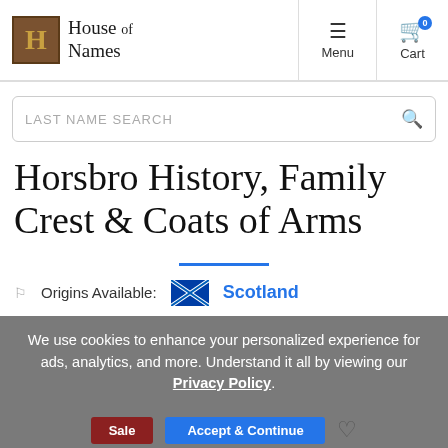House of Names — Menu — Cart (0)
LAST NAME SEARCH
Horsbro History, Family Crest & Coats of Arms
Origins Available: Scotland
We use cookies to enhance your personalized experience for ads, analytics, and more. Understand it all by viewing our Privacy Policy.